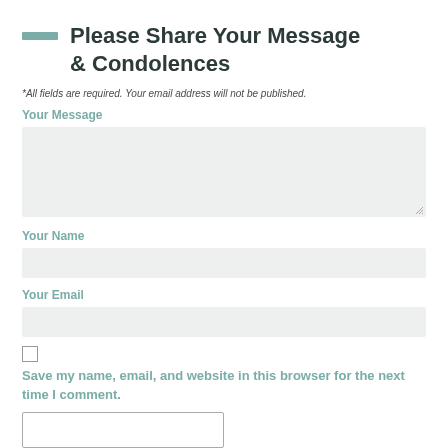Please Share Your Message & Condolences
*All fields are required. Your email address will not be published.
Your Message
Your Name
Your Email
Save my name, email, and website in this browser for the next time I comment.